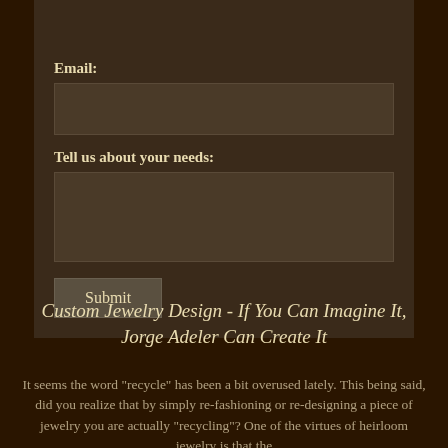An Appointment
Email:
Tell us about your needs:
Submit
Custom Jewelry Design - If You Can Imagine It, Jorge Adeler Can Create It
It seems the word "recycle" has been a bit overused lately. This being said, did you realize that by simply re-fashioning or re-designing a piece of jewelry you are actually "recycling"? One of the virtues of heirloom jewelry is that the